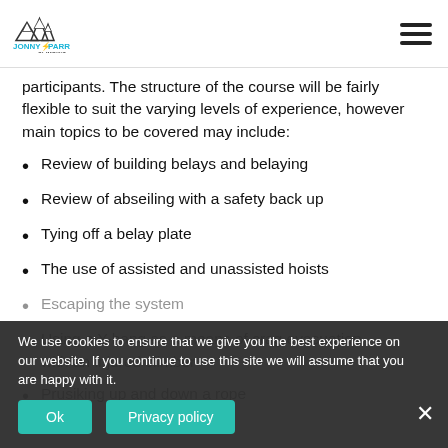Jonny Parr Climbing
participants. The structure of the course will be fairly flexible to suit the varying levels of experience, however main topics to be covered may include:
Review of building belays and belaying
Review of abseiling with a safety back up
Tying off a belay plate
The use of assisted and unassisted hoists
Escaping the system
Using a Y-hang as a means of crag evacuation with an injured climber
Prusiking up and down a rope
We use cookies to ensure that we give you the best experience on our website. If you continue to use this site we will assume that you are happy with it.